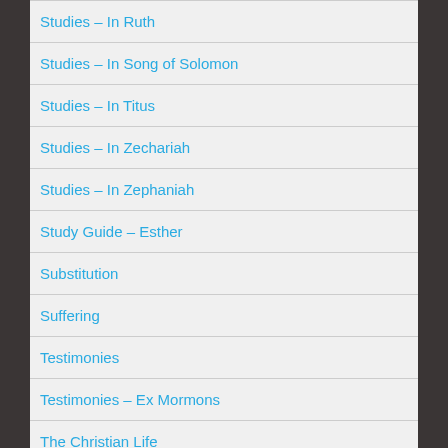Studies – In Ruth
Studies – In Song of Solomon
Studies – In Titus
Studies – In Zechariah
Studies – In Zephaniah
Study Guide – Esther
Substitution
Suffering
Testimonies
Testimonies – Ex Mormons
The Christian Life
Anxiety